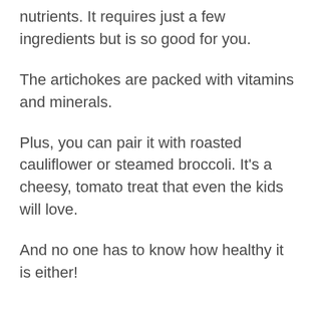nutrients. It requires just a few ingredients but is so good for you.
The artichokes are packed with vitamins and minerals.
Plus, you can pair it with roasted cauliflower or steamed broccoli. It’s a cheesy, tomato treat that even the kids will love.
And no one has to know how healthy it is either!